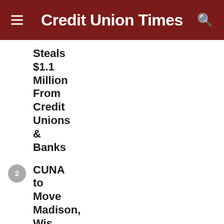Credit Union Times
Steals $1.1 Million From Credit Unions & Banks
2 CUNA to Move Madison, Wis., Headquarters in Spring 2023
3 8